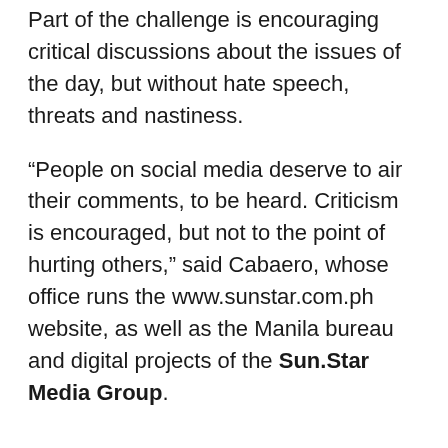Part of the challenge is encouraging critical discussions about the issues of the day, but without hate speech, threats and nastiness.
“People on social media deserve to air their comments, to be heard. Criticism is encouraged, but not to the point of hurting others,” said Cabaero, whose office runs the www.sunstar.com.ph website, as well as the Manila bureau and digital projects of the Sun.Star Media Group.